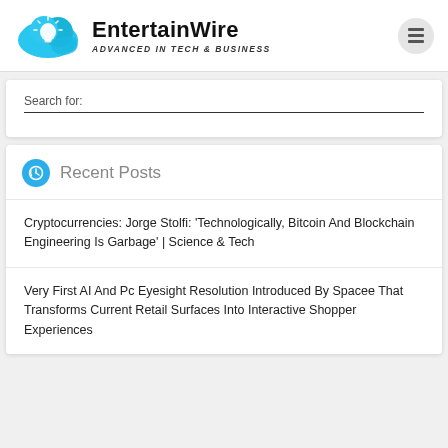[Figure (logo): EntertainWire logo: blue cloud with lightbulb icon, brand name and tagline]
Search for:
Recent Posts
Cryptocurrencies: Jorge Stolfi: 'Technologically, Bitcoin And Blockchain Engineering Is Garbage' | Science & Tech
Very First AI And Pc Eyesight Resolution Introduced By Spacee That Transforms Current Retail Surfaces Into Interactive Shopper Experiences